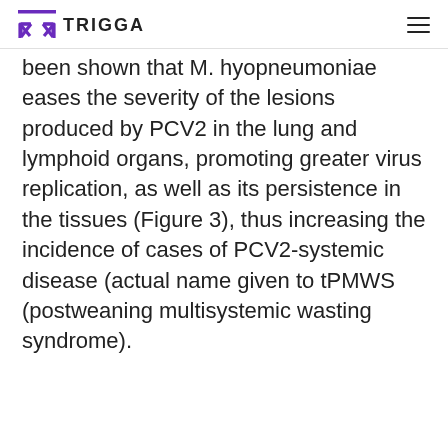TRIGGA
been shown that M. hyopneumoniae eases the severity of the lesions produced by PCV2 in the lung and lymphoid organs, promoting greater virus replication, as well as its persistence in the tissues (Figure 3), thus increasing the incidence of cases of PCV2-systemic disease (actual name given to tPMWS (postweaning multisystemic wasting syndrome).